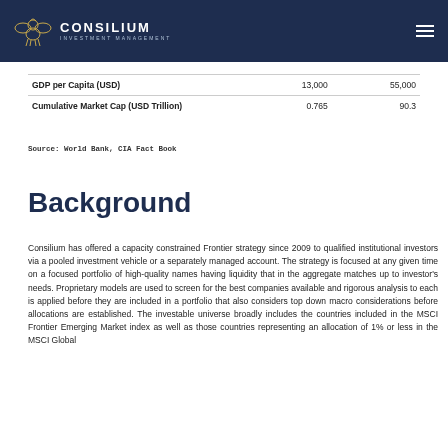CONSILIUM INVESTMENT MANAGEMENT
|  |  |  |
| --- | --- | --- |
| GDP per Capita (USD) | 13,000 | 55,000 |
| Cumulative Market Cap (USD Trillion) | 0.765 | 90.3 |
Source: World Bank, CIA Fact Book
Background
Consilium has offered a capacity constrained Frontier strategy since 2009 to qualified institutional investors via a pooled investment vehicle or a separately managed account. The strategy is focused at any given time on a focused portfolio of high-quality names having liquidity that in the aggregate matches up to investor's needs. Proprietary models are used to screen for the best companies available and rigorous analysis to each is applied before they are included in a portfolio that also considers top down macro considerations before allocations are established. The investable universe broadly includes the countries included in the MSCI Frontier Emerging Market index as well as those countries representing an allocation of 1% or less in the MSCI Global